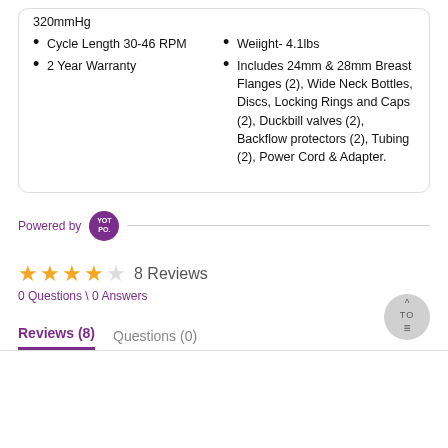320mmHg
Cycle Length 30-46 RPM
Weight- 4.1lbs
2 Year Warranty
Includes 24mm & 28mm Breast Flanges (2), Wide Neck Bottles, Discs, Locking Rings and Caps (2), Duckbill valves (2), Backflow protectors (2), Tubing (2), Power Cord & Adapter.
Powered by YOT PO.
★★★★☆ 8 Reviews
0 Questions \ 0 Answers
Reviews (8)   Questions (0)